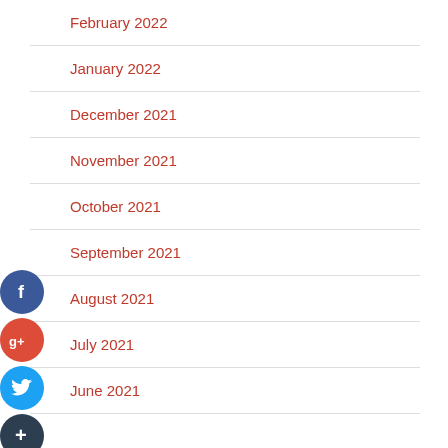February 2022
January 2022
December 2021
November 2021
October 2021
September 2021
August 2021
July 2021
June 2021
[Figure (infographic): Four social media icons stacked vertically on the left side: Facebook (dark blue circle with f), Google+ (red circle with g+), Twitter (light blue circle with bird), and a dark circle with + sign]